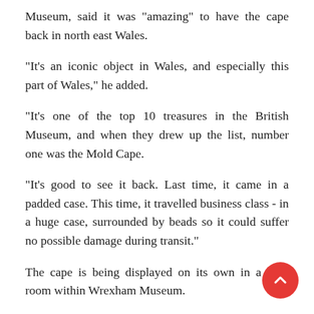Museum, said it was "amazing" to have the cape back in north east Wales.
"It's an iconic object in Wales, and especially this part of Wales," he added.
"It's one of the top 10 treasures in the British Museum, and when they drew up the list, number one was the Mold Cape.
"It's good to see it back. Last time, it came in a padded case. This time, it travelled business class - in a huge case, surrounded by beads so it could suffer no possible damage during transit."
The cape is being displayed on its own in a dark room within Wrexham Museum.
Also on show is a 4,000-year-old necklace discov​d in the same valley about to parish as found by th​